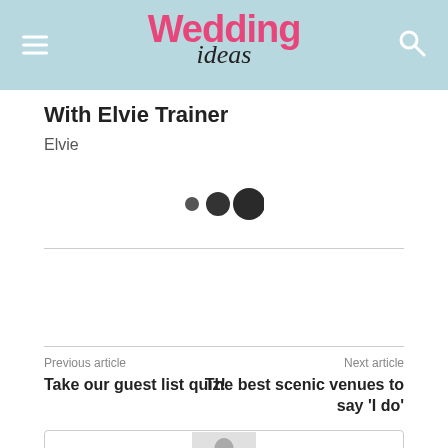Wedding ideas
With Elvie Trainer
Elvie
[Figure (other): Three loading dots of increasing size: small, medium, large, dark grey circles]
Previous article
Take our guest list quiz!
Next article
The best scenic venues to say 'I do'
[Figure (photo): Partial black and white photo of a person at the bottom of the page inside a bordered card]